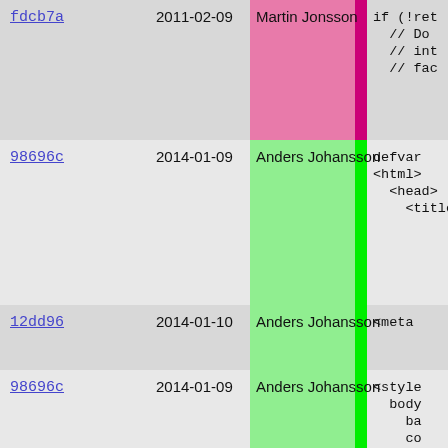| hash | date | author |  | code |
| --- | --- | --- | --- | --- |
| fdcb7a | 2011-02-09 | Martin Jonsson |  | if (!ret
// Do
// int
// fac |
| 98696c | 2014-01-09 | Anders Johansson |  | defvar
<html>
  <head>
    <title |
| 12dd96 | 2014-01-10 | Anders Johansson |  | <meta |
| 98696c | 2014-01-09 | Anders Johansson |  | <style
  body
    ba
    co
    ma
    pa
    fo
    fo
    li
  }
  html
  .hea
  .mai
  .url
  .sep
  .foo
  .inf
  </styl
  </head>
  <body> |